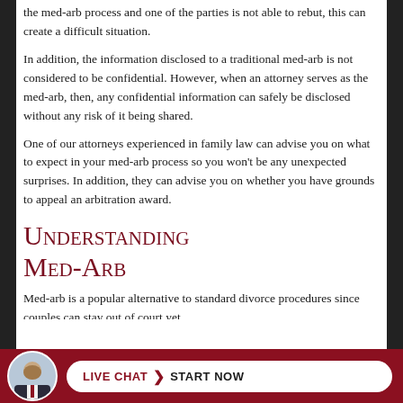the med-arb process and one of the parties is not able to rebut, this can create a difficult situation.
In addition, the information disclosed to a traditional med-arb is not considered to be confidential. However, when an attorney serves as the med-arb, then, any confidential information can safely be disclosed without any risk of it being shared.
One of our attorneys experienced in family law can advise you on what to expect in your med-arb process so you won't be any unexpected surprises. In addition, they can advise you on whether you have grounds to appeal an arbitration award.
Understanding Med-Arb
Med-arb is a popular alternative to standard divorce procedures since couples can stay out of court yet still…